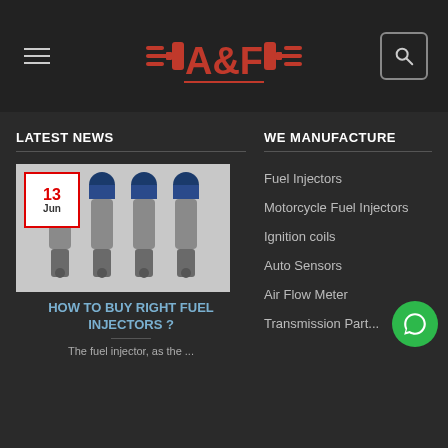[Figure (logo): A&F automotive logo in red with stylized engine parts, on dark background header with hamburger menu and search icon]
LATEST NEWS
WE MANUFACTURE
[Figure (photo): Four fuel injectors with blue caps against a white background, date badge showing 13 Jun]
HOW TO BUY RIGHT FUEL INJECTORS ?
The fuel injector, as the ...
Fuel Injectors
Motorcycle Fuel Injectors
Ignition coils
Auto Sensors
Air Flow Meter
Transmission Part...